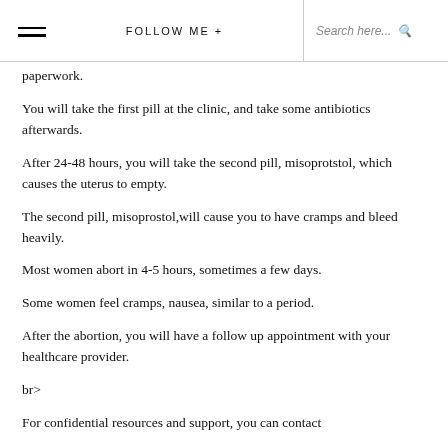≡  FOLLOW ME +  Search here... 🔍
paperwork.
You will take the first pill at the clinic, and take some antibiotics afterwards.
After 24-48 hours, you will take the second pill, misoprotstol, which causes the uterus to empty.
The second pill, misoprostol,will cause you to have cramps and bleed heavily.
Most women abort in 4-5 hours, sometimes a few days.
Some women feel cramps, nausea, similar to a period.
After the abortion, you will have a follow up appointment with your healthcare provider.
br>
For confidential resources and support, you can contact